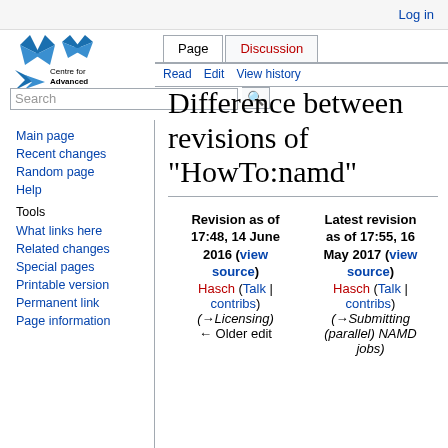Log in
[Figure (logo): Centre for Advanced Computing logo — blue star/arrow shapes with text 'Centre for Advanced Computing']
Page  Discussion  Read  Edit  View history
Difference between revisions of "HowTo:namd"
Revision as of 17:48, 14 June 2016 (view source)
Hasch (Talk | contribs)
(→Licensing)
← Older edit
Latest revision as of 17:55, 16 May 2017 (view source)
Hasch (Talk | contribs)
(→Submitting (parallel) NAMD jobs)
Main page
Recent changes
Random page
Help
Tools
What links here
Related changes
Special pages
Printable version
Permanent link
Page information